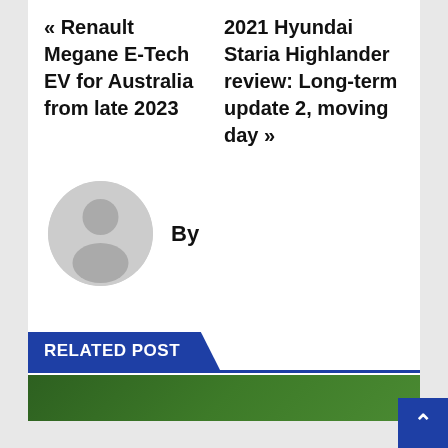« Renault Megane E-Tech EV for Australia from late 2023
2021 Hyundai Staria Highlander review: Long-term update 2, moving day »
By
[Figure (illustration): Generic user avatar placeholder — grey circle with silhouette of a person]
RELATED POST
[Figure (photo): Bottom strip showing a green outdoor scene, partially visible]